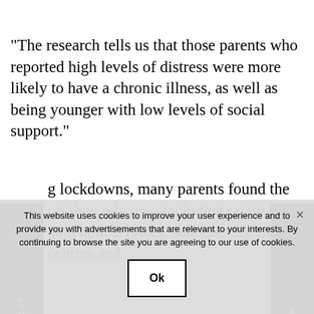“The research tells us that those parents who reported high levels of distress were more likely to have a chronic illness, as well as being younger with low levels of social support.”
During lockdowns, many parents found the support they rely on—including relatives, paid household services, schools, day care centres and other services—suddenly limited.
PREVIOUS POST
NEXT POST
This website uses cookies to improve your user experience and to provide you with advertisements that are relevant to your interests. By continuing to browse the site you are agreeing to our use of cookies.
Ok